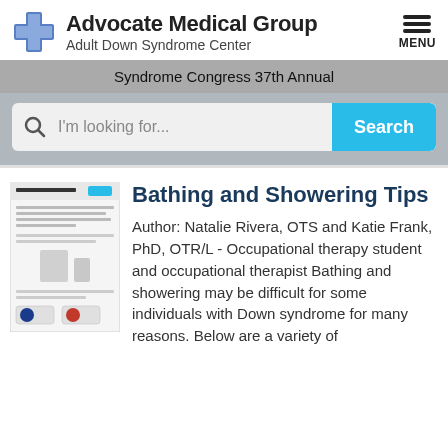[Figure (logo): Advocate Medical Group logo with blue cross and text, plus MENU hamburger icon]
Syndrome Congress 37th Annual
[Figure (screenshot): Search bar with magnifying glass icon, placeholder text I'm looking for..., and a blue Search button]
[Figure (screenshot): Thumbnail preview of Bathing and Showering Tips article page]
Bathing and Showering Tips
Author: Natalie Rivera, OTS and Katie Frank, PhD, OTR/L - Occupational therapy student and occupational therapist Bathing and showering may be difficult for some individuals with Down syndrome for many reasons. Below are a variety of